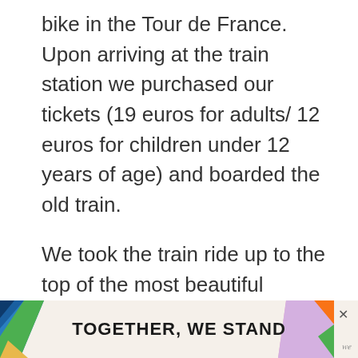bike in the Tour de France. Upon arriving at the train station we purchased our tickets (19 euros for adults/ 12 euros for children under 12 years of age) and boarded the old train.
We took the train ride up to the top of the most beautiful outlook that gave us 360-degree views. We went in the late afternoon and it was so sunny and beautiful. Truly a moment I will never forget. I felt like every 5 minutes on the t[...]
[Figure (other): Advertisement banner reading 'TOGETHER, WE STAND' with colorful decorative elements on left and right sides, and a close button (×) in upper right corner.]